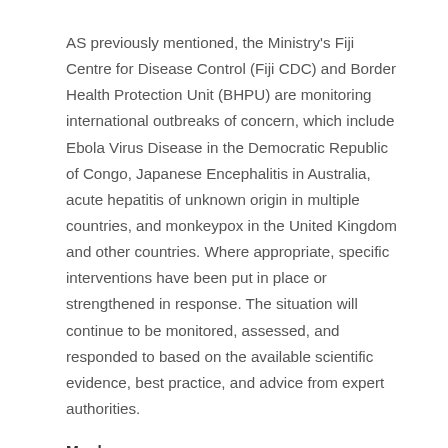AS previously mentioned, the Ministry's Fiji Centre for Disease Control (Fiji CDC) and Border Health Protection Unit (BHPU) are monitoring international outbreaks of concern, which include Ebola Virus Disease in the Democratic Republic of Congo, Japanese Encephalitis in Australia, acute hepatitis of unknown origin in multiple countries, and monkeypox in the United Kingdom and other countries. Where appropriate, specific interventions have been put in place or strengthened in response. The situation will continue to be monitored, assessed, and responded to based on the available scientific evidence, best practice, and advice from expert authorities.
Monkeypox
As we continue our recovery path during this pandemic, the strategies for resilience require urgent and early preparedness and response planning against any potential threat.